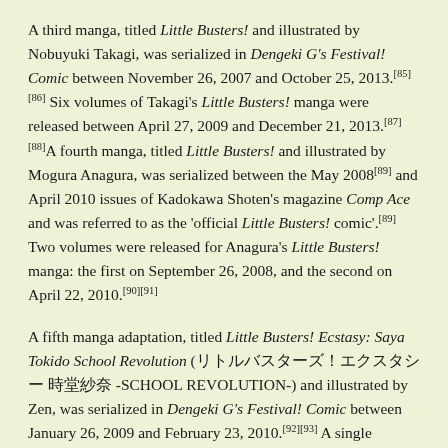A third manga, titled Little Busters! and illustrated by Nobuyuki Takagi, was serialized in Dengeki G's Festival! Comic between November 26, 2007 and October 25, 2013.[85][86] Six volumes of Takagi's Little Busters! manga were released between April 27, 2009 and December 21, 2013.[87][88]A fourth manga, titled Little Busters! and illustrated by Mogura Anagura, was serialized between the May 2008[89] and April 2010 issues of Kadokawa Shoten's magazine Comp Ace and was referred to as the 'official Little Busters! comic'.[89] Two volumes were released for Anagura's Little Busters! manga: the first on September 26, 2008, and the second on April 22, 2010.[90][91]
A fifth manga adaptation, titled Little Busters! Ecstasy: Saya Tokido School Revolution (リトルバスターズ!エクスタシー 時堂紗夜 -SCHOOL REVOLUTION-) and illustrated by Zen, was serialized in Dengeki G's Festival! Comic between January 26, 2009 and February 23, 2010.[92][93] A single volume of Saya Tokido School Revolution was released on April 27, 2010.[94]Zen also illustrated the Little Busters! Ecstasy: Sasami Sasasegawa Black Cat Fantasia (リトルバスターズ!エクスタシー 笹川咲 -Black Cat Fantasia-) manga, which was serialized in Dengeki G's Festival! Comic between June